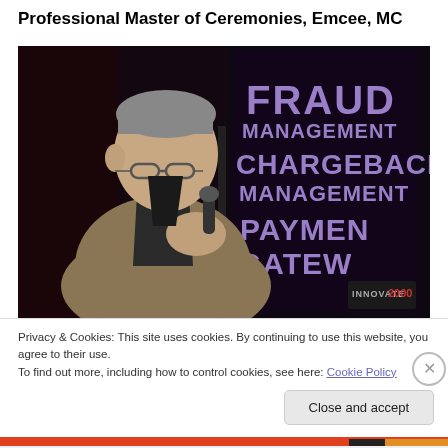Professional Master of Ceremonies, Emcee, MC
[Figure (photo): A man in a tan/grey blazer over a dark shirt, holding a microphone, speaking at an event. Behind him is a dark banner with purple text reading FRAUD MANAGEMENT CHARGEBACK MANAGEMENT PAYMENT GATEWAY and a small logo reading INNOVATE with the number 2000.]
Privacy & Cookies: This site uses cookies. By continuing to use this website, you agree to their use.
To find out more, including how to control cookies, see here: Cookie Policy
Close and accept